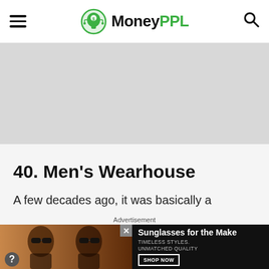MoneyPPL
[Figure (other): Gray advertisement banner placeholder]
40. Men's Wearhouse
A few decades ago, it was basically a
Advertisement
[Figure (other): Advertisement for sunglasses - two women wearing sunglasses. Text reads: Sunglasses for the Make, TIMELESS STYLES. UNMATCHED QUALITY, SHOP NOW]